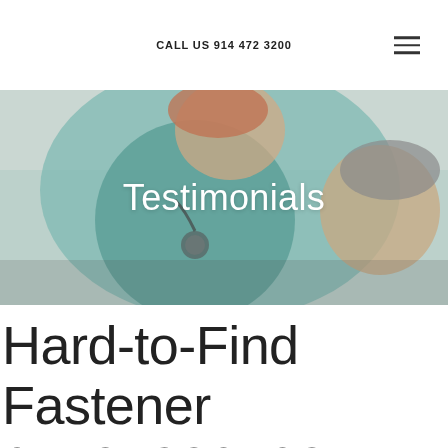CALL US 914 472 3200
[Figure (photo): A smiling nurse in teal scrubs with a stethoscope leaning over an elderly patient who is also smiling]
Testimonials
Hard-to-Find Fastener 014973307035 Socket